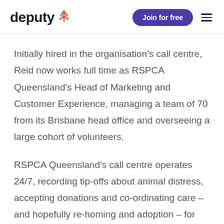deputy [logo] | Join for free | menu
Initially hired in the organisation's call centre, Reid now works full time as RSPCA Queensland's Head of Marketing and Customer Experience, managing a team of 70 from its Brisbane head office and overseeing a large cohort of volunteers.
RSPCA Queensland's call centre operates 24/7, recording tip-offs about animal distress, accepting donations and co-ordinating care – and hopefully re-homing and adoption – for rescued animals.